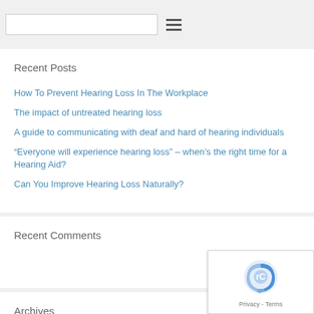Recent Posts
How To Prevent Hearing Loss In The Workplace
The impact of untreated hearing loss
A guide to communicating with deaf and hard of hearing individuals
“Everyone will experience hearing loss” – when’s the right time for a Hearing Aid?
Can You Improve Hearing Loss Naturally?
Recent Comments
Archives